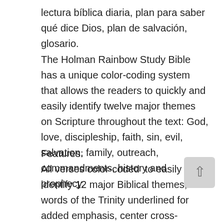lectura bíblica diaria, plan para saber qué dice Dios, plan de salvación, glosario.
The Holman Rainbow Study Bible has a unique color-coding system that allows the readers to quickly and easily identify twelve major themes on Scripture throughout the text: God, love, discipleship, faith, sin, evil, salvation, family, outreach, commandments, history and prophecy.
Features:
All verses color-coded to easily identify 12 major Biblical themes, words of the Trinity underlined for added emphasis, center cross-references, headings and subheadings, throughout Biblical text, 100 popular Bible passages, concordance, in-text Maps and illustrations and special Bible maps in the final section,